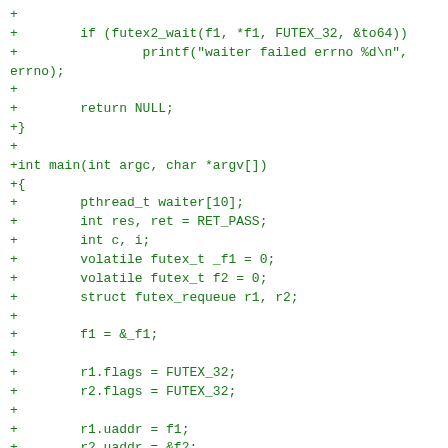+
+        if (futex2_wait(f1, *f1, FUTEX_32, &to64))
+                printf("waiter failed errno %d\n",
errno);
+
+        return NULL;
+}
+
+int main(int argc, char *argv[])
+{
+        pthread_t waiter[10];
+        int res, ret = RET_PASS;
+        int c, i;
+        volatile futex_t _f1 = 0;
+        volatile futex_t f2 = 0;
+        struct futex_requeue r1, r2;
+
+        f1 = &_f1;
+
+        r1.flags = FUTEX_32;
+        r2.flags = FUTEX_32;
+
+        r1.uaddr = f1;
+        r2.uaddr = &f2;
+
+        while ((c = getopt(argc, argv, "cht:v:")) !=
-1) {
+                switch (c) {
+                case 'c':
+                        log_color(1);